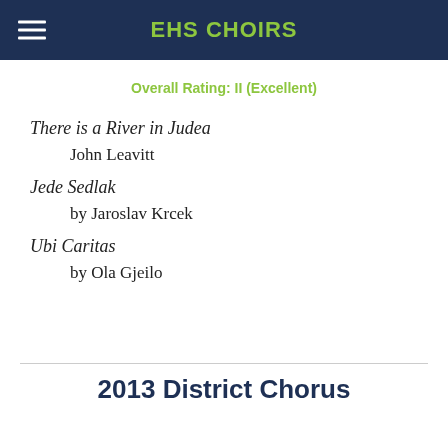EHS CHOIRS
Overall Rating: II (Excellent)
There is a River in Judea
John Leavitt
Jede Sedlak
by Jaroslav Krcek
Ubi Caritas
by Ola Gjeilo
2013 District Chorus